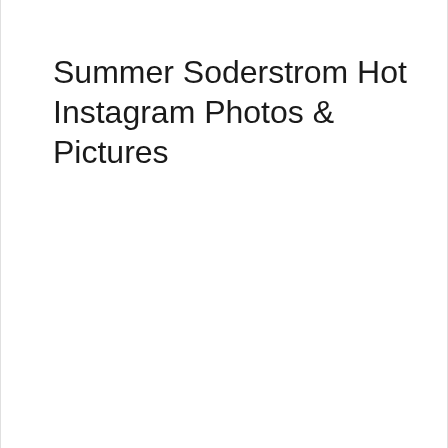Summer Soderstrom Hot Instagram Photos & Pictures